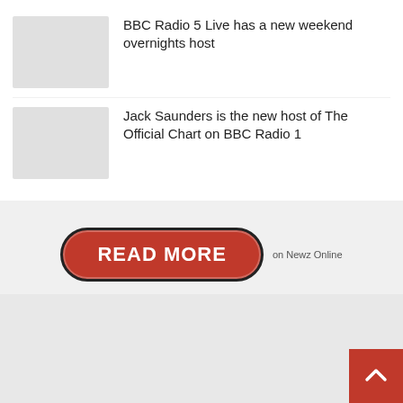BBC Radio 5 Live has a new weekend overnights host
Jack Saunders is the new host of The Official Chart on BBC Radio 1
[Figure (other): Red READ MORE button with border, followed by text 'on Newz Online']
[Figure (other): Red scroll-to-top button with upward arrow icon, bottom-right corner]